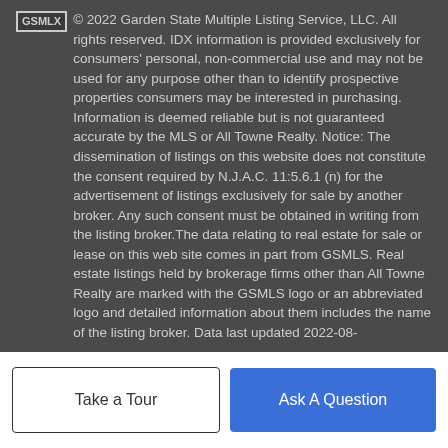© 2022 Garden State Multiple Listing Service, LLC. All rights reserved. IDX information is provided exclusively for consumers' personal, non-commercial use and may not be used for any purpose other than to identify prospective properties consumers may be interested in purchasing. Information is deemed reliable but is not guaranteed accurate by the MLS or All Towne Realty. Notice: The dissemination of listings on this website does not constitute the consent required by N.J.A.C. 11:5.6.1 (n) for the advertisement of listings exclusively for sale by another broker. Any such consent must be obtained in writing from the listing broker.The data relating to real estate for sale or lease on this web site comes in part from GSMLS. Real estate listings held by brokerage firms other than All Towne Realty are marked with the GSMLS logo or an abbreviated logo and detailed information about them includes the name of the listing broker. Data last updated 2022-08-31T23:46:49.047.
© 2022 Monmouth-Ocean MLS. IDX information is provided
Take a Tour
Ask A Question